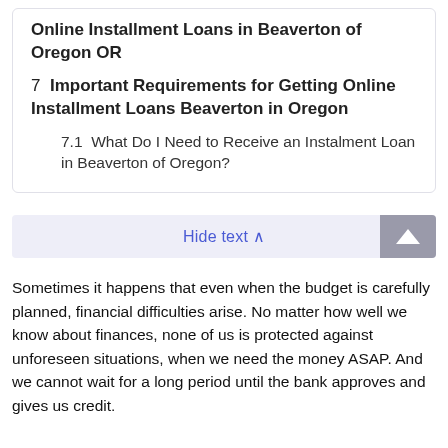Online Installment Loans in Beaverton of Oregon OR
7  Important Requirements for Getting Online Installment Loans Beaverton in Oregon
7.1  What Do I Need to Receive an Instalment Loan in Beaverton of Oregon?
Hide text ∧
Sometimes it happens that even when the budget is carefully planned, financial difficulties arise. No matter how well we know about finances, none of us is protected against unforeseen situations, when we need the money ASAP. And we cannot wait for a long period until the bank approves and gives us credit.